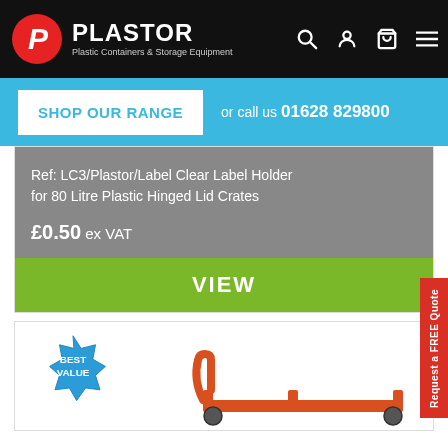PLASTOR — Plastic Containers & Storage Equipment
SHOP OUR RANGE or call us 01628 829800
Ref: LC3/Plastor/Label Clear Label Holder for 80 Litre Plastic Hinged Lid Crates
£0.50 ex VAT
VIEW
[Figure (photo): Second product card showing a Best Value badge and an orange pallet truck or trolley base]
Request a FREE Quote